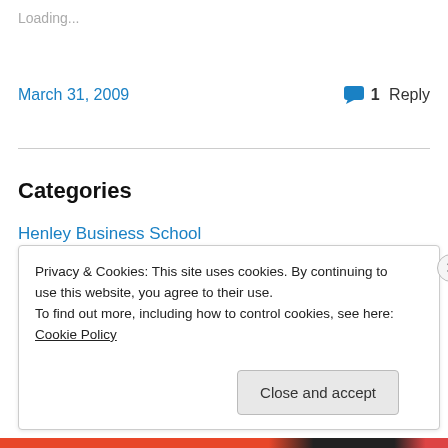Loading...
March 31, 2009
1 Reply
Categories
Henley Business School
Henley MBA
Management Learning
Messenger's Falling
Privacy & Cookies: This site uses cookies. By continuing to use this website, you agree to their use.
To find out more, including how to control cookies, see here: Cookie Policy
Close and accept